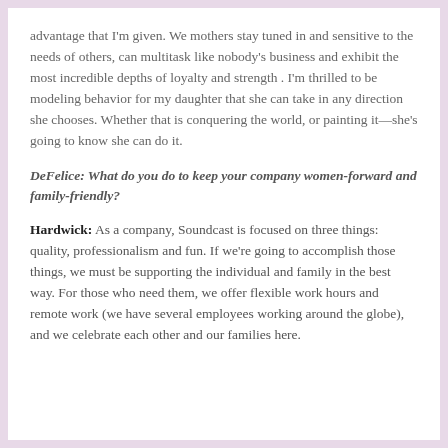advantage that I'm given. We mothers stay tuned in and sensitive to the needs of others, can multitask like nobody's business and exhibit the most incredible depths of loyalty and strength . I'm thrilled to be modeling behavior for my daughter that she can take in any direction she chooses. Whether that is conquering the world, or painting it—she's going to know she can do it.
DeFelice: What do you do to keep your company women-forward and family-friendly?
Hardwick: As a company, Soundcast is focused on three things: quality, professionalism and fun. If we're going to accomplish those things, we must be supporting the individual and family in the best way. For those who need them, we offer flexible work hours and remote work (we have several employees working around the globe), and we celebrate each other and our families here.